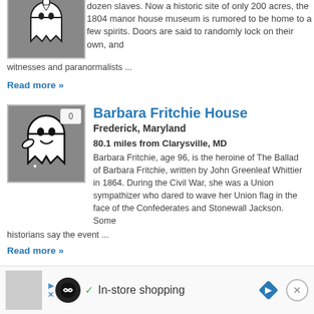[Figure (illustration): Ghost illustration on grey background, partially visible at top]
dozen slaves. Now a historic site of only 200 acres, the 1804 manor house museum is rumored to be home to a few spirits. Doors are said to randomly lock on their own, and witnesses and paranormalists ...
Read more »
[Figure (illustration): Cartoon ghost illustration on grey background with badge showing 0]
Barbara Fritchie House
Frederick, Maryland
80.1 miles from Clarysville, MD
Barbara Fritchie, age 96, is the heroine of The Ballad of Barbara Fritchie, written by John Greenleaf Whittier in 1864. During the Civil War, she was a Union sympathizer who dared to wave her Union flag in the face of the Confederates and Stonewall Jackson. Some historians say the event ...
Read more »
[Figure (infographic): Advertisement bar: In-store shopping with play/close buttons and navigation icon]